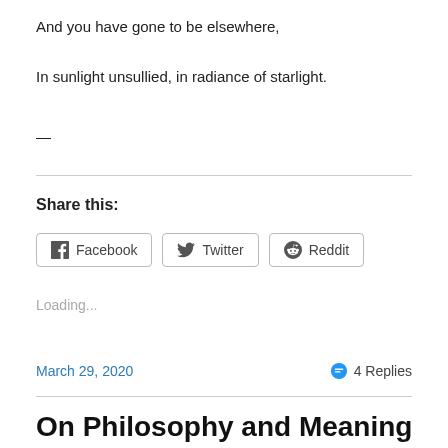And you have gone to be elsewhere,
In sunlight unsullied, in radiance of starlight.
—
Share this:
Facebook  Twitter  Reddit
Loading...
March 29, 2020
4 Replies
On Philosophy and Meaning